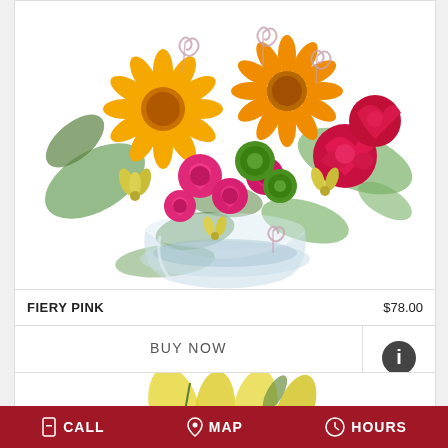[Figure (photo): Flower arrangement called Fiery Pink in a round glass vase, featuring orange gerbera daisies, pink roses, red carnations, green button mums, and yellow alstroemeria with decorative silver spiral picks]
FIERY PINK    $78.00
BUY NOW
[Figure (photo): Partial view of yellow lily flower arrangement]
CALL   MAP   HOURS